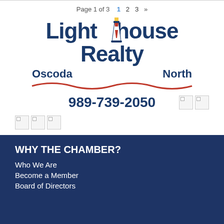Page 1 of 3   1   2   3   »
[Figure (logo): Lighthouse Realty Oscoda North logo with lighthouse illustration, wave graphic, and phone number 989-739-2050]
WHY THE CHAMBER?
Who We Are
Become a Member
Board of Directors